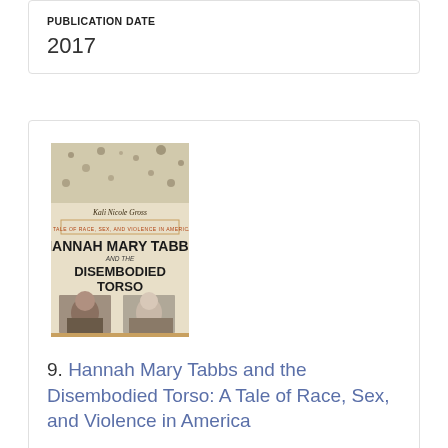PUBLICATION DATE
2017
[Figure (photo): Book cover of 'Hannah Mary Tabbs and the Disembodied Torso: A Tale of Race, Sex, and Violence in America' by Kali Nicole Gross. The cover shows a sepia-toned image with the title in large bold letters and two historical portrait photos at the bottom.]
9. Hannah Mary Tabbs and the Disembodied Torso: A Tale of Race, Sex, and Violence in America